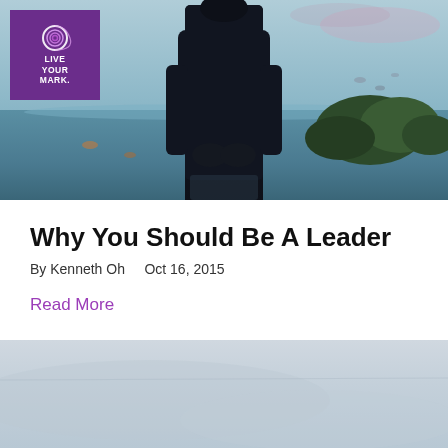[Figure (photo): Hero photo: silhouette of a person in a dark puffer jacket standing near a misty reflective lake with green shrubs in the background. Purple 'Live Your Mark' logo in the top-left corner.]
Why You Should Be A Leader
By Kenneth Oh    Oct 16, 2015
Read More
[Figure (photo): Bottom partial photo: pale blue-grey misty lake/sky scene.]